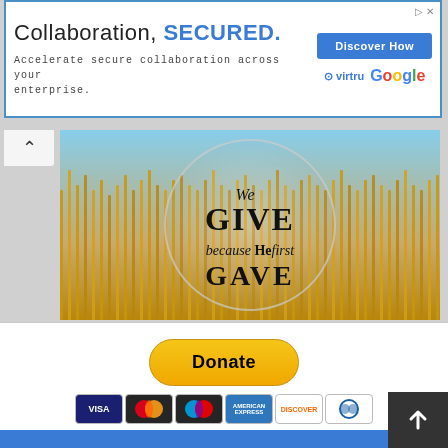[Figure (screenshot): Advertisement banner: 'Collaboration, SECURED.' with Virtru and Google logos and a Discover How button]
[Figure (photo): Hero banner image showing wheat field with text: 'We GIVE because He first GAVE']
[Figure (infographic): PayPal Donate button with payment card logos: Visa, Mastercard, Maestro, American Express, Discover, Diners]
Your generous support will go a long long way to bless this ministry! God bless you and your family. Blessed shall you be in the city and in the country; when you come in and when you go out. The LORD will command the blessings you in your storehouses. In Jesus Name, Amen!